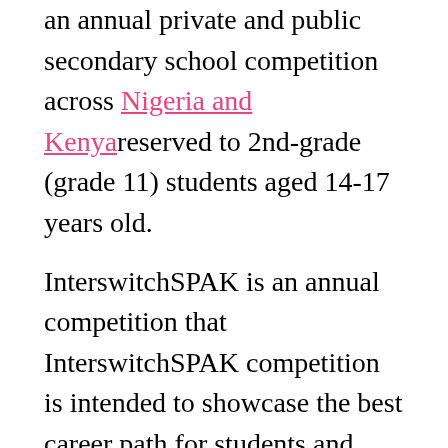an annual private and public secondary school competition across Nigeria and Kenya reserved to 2nd-grade (grade 11) students aged 14-17 years old.
InterswitchSPAK is an annual competition that InterswitchSPAK competition is intended to showcase the best career path for students and help them towards their potential and achieve their ambitions (as an investor or entrepreneur) along with a meaningful message to encourage the interest of parents, students and teachers, along with other vital stakeholders to science and technology training as well as its application throughout